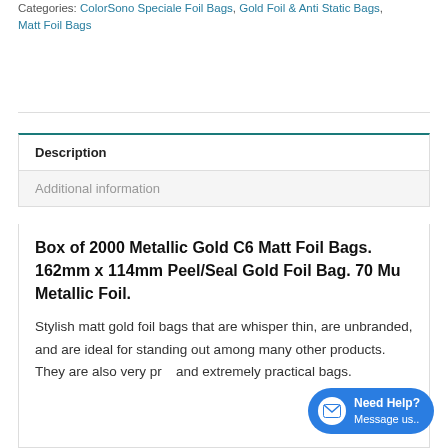Categories: ColorSono Speciale Foil Bags, Gold Foil & Anti Static Bags, Matt Foil Bags
Description
Additional information
Box of 2000 Metallic Gold C6 Matt Foil Bags. 162mm x 114mm Peel/Seal Gold Foil Bag. 70 Mu Metallic Foil.
Stylish matt gold foil bags that are whisper thin, are unbranded, and are ideal for standing out among many other products. They are also very pr... and extremely practical bags.